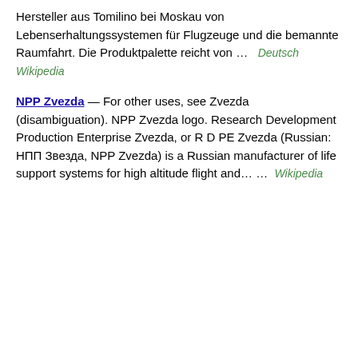Hersteller aus Tomilino bei Moskau von Lebenserhaltungssystemen für Flugzeuge und die bemannte Raumfahrt. Die Produktpalette reicht von … Deutsch Wikipedia
NPP Zvezda — For other uses, see Zvezda (disambiguation). NPP Zvezda logo. Research Development Production Enterprise Zvezda, or R D PE Zvezda (Russian: НПП Звезда, NPP Zvezda) is a Russian manufacturer of life support systems for high altitude flight and… … Wikipedia